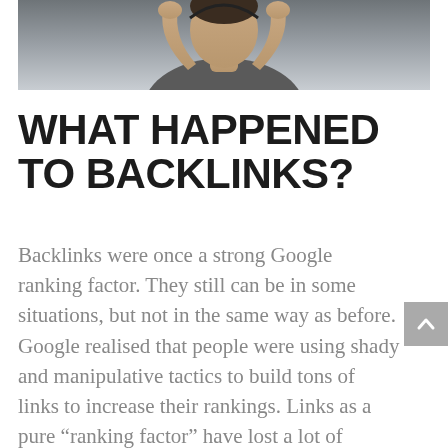[Figure (photo): Partial image of a person raising their hands to their head, visible from shoulders up, photographed outdoors. The image is cropped showing the lower portion of the figure.]
WHAT HAPPENED TO BACKLINKS?
Backlinks were once a strong Google ranking factor. They still can be in some situations, but not in the same way as before. Google realised that people were using shady and manipulative tactics to build tons of links to increase their rankings. Links as a pure “ranking factor” have lost a lot of credibility and do not work in the same way they once did. Today, what’s more important than backlinks is the contextual and natural